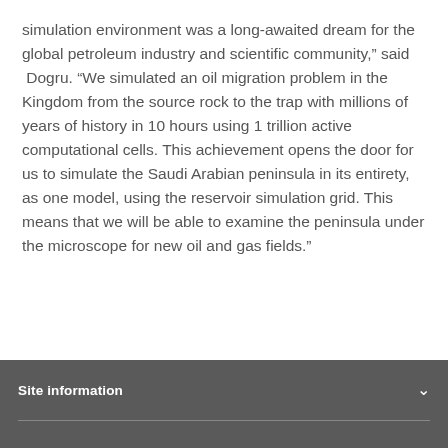simulation environment was a long-awaited dream for the global petroleum industry and scientific community,” said Dogru. “We simulated an oil migration problem in the Kingdom from the source rock to the trap with millions of years of history in 10 hours using 1 trillion active computational cells. This achievement opens the door for us to simulate the Saudi Arabian peninsula in its entirety, as one model, using the reservoir simulation grid. This means that we will be able to examine the peninsula under the microscope for new oil and gas fields.”
Site information